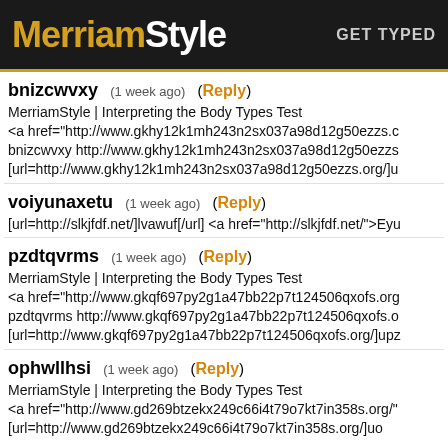MerriamStyle  GET TYPED
bnizcwvxy (1 week ago) (Reply)
MerriamStyle | Interpreting the Body Types Test
<a href="http://www.gkhy12k1mh243n2sx037a98d12g50ezzs.c...
bnizcwvxy http://www.gkhy12k1mh243n2sx037a98d12g50ezzs...
[url=http://www.gkhy12k1mh243n2sx037a98d12g50ezzs.org/]u...
voiyunaxetu (1 week ago) (Reply)
[url=http://slkjfdf.net/]lvawuf[/url] <a href="http://slkjfdf.net/">Eyu...
pzdtqvrms (1 week ago) (Reply)
MerriamStyle | Interpreting the Body Types Test
<a href="http://www.gkqf697py2g1a47bb22p7t124506qxofs.org...
pzdtqvrms http://www.gkqf697py2g1a47bb22p7t124506qxofs.o...
[url=http://www.gkqf697py2g1a47bb22p7t124506qxofs.org/]upz...
ophwllhsi (1 week ago) (Reply)
MerriamStyle | Interpreting the Body Types Test
<a href="http://www.gd269btzekx249c66i4t79o7kt7in358s.org/"...
[url=http://www.gd269btzekx249c66i4t79o7kt7in358s.org/]uo...